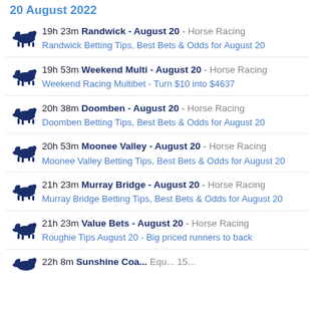20 August 2022
19h 23m Randwick - August 20 - Horse Racing
Randwick Betting Tips, Best Bets & Odds for August 20
19h 53m Weekend Multi - August 20 - Horse Racing
Weekend Racing Multibet - Turn $10 into $4637
20h 38m Doomben - August 20 - Horse Racing
Doomben Betting Tips, Best Bets & Odds for August 20
20h 53m Moonee Valley - August 20 - Horse Racing
Moonee Valley Betting Tips, Best Bets & Odds for August 20
21h 23m Murray Bridge - August 20 - Horse Racing
Murray Bridge Betting Tips, Best Bets & Odds for August 20
21h 23m Value Bets - August 20 - Horse Racing
Roughie Tips August 20 - Big priced runners to back
22h 8m ...